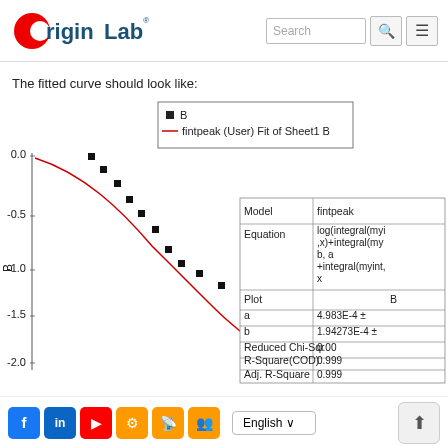OriginLab — Search (navigation header)
The fitted curve should look like:
[Figure (continuous-plot): Scatter plot with fitted curve (red line) showing data points (black squares) labeled 'B' and a 'fintpeak (User) Fit of Sheet1 B' curve. Y-axis labeled 'B' ranging from 0.0 to -2.0. An inset table shows fit statistics: Model=fintpeak, Equation=log(integral(myint,x)+integral(my b,a +integral(myint, x)), Plot=B, a=4.983E-4 ±, b=1.94273E-4 ±, Reduced Chi-Sqr=0.00, R-Square(COD)=0.999, Adj. R-Square=0.999]
Social icons (Facebook, LinkedIn, YouTube, settings, RSS, groups) | English language selector | scroll-to-top button